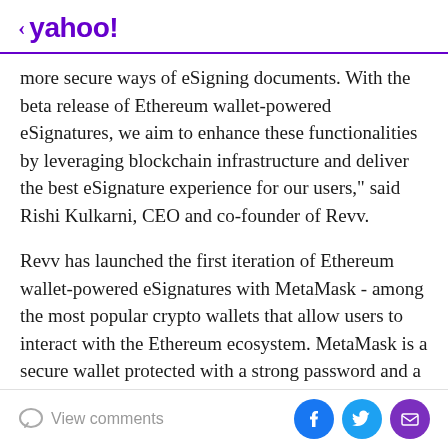< yahoo!
more secure ways of eSigning documents. With the beta release of Ethereum wallet-powered eSignatures, we aim to enhance these functionalities by leveraging blockchain infrastructure and deliver the best eSignature experience for our users," said Rishi Kulkarni, CEO and co-founder of Revv.
Revv has launched the first iteration of Ethereum wallet-powered eSignatures with MetaMask - among the most popular crypto wallets that allow users to interact with the Ethereum ecosystem. MetaMask is a secure wallet protected with a strong password and a user's private key, all encrypted in a user's browser rather than being stored on a remote server. This cryptographically-secure
View comments